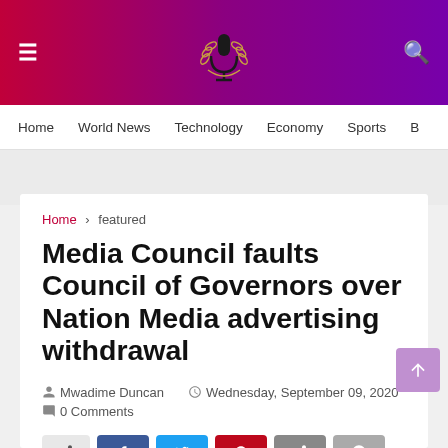≡  [logo]  🔍
Home  World News  Technology  Economy  Sports
Home › featured
Media Council faults Council of Governors over Nation Media advertising withdrawal
Mwadime Duncan   Wednesday, September 09, 2020   0 Comments